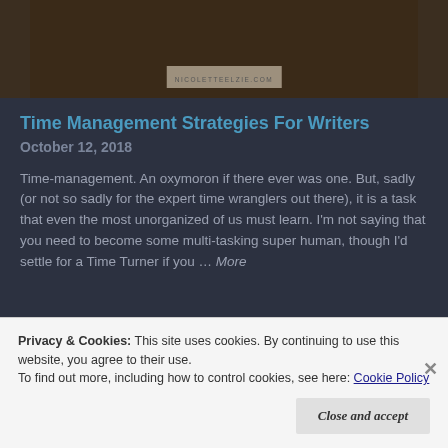[Figure (photo): Partial view of a dark brown image with watermark text NICOLETTEELZIE.COM at the bottom center]
Time Management Strategies For Writers
October 12, 2018
Time-management. An oxymoron if there ever was one. But, sadly (or not so sadly for the expert time wranglers out there), it is a task that even the most unorganized of us must learn. I'm not saying that you need to become some multi-tasking super human, though I'd settle for a Time Turner if you … More
Privacy & Cookies: This site uses cookies. By continuing to use this website, you agree to their use.
To find out more, including how to control cookies, see here: Cookie Policy
Close and accept